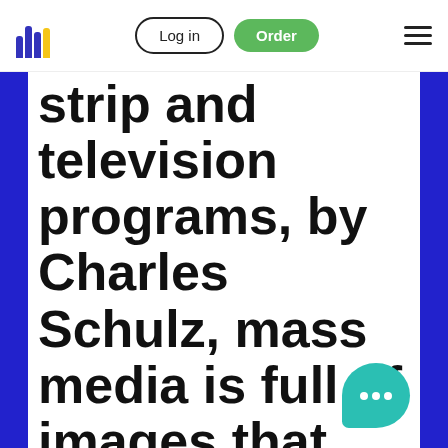[Figure (screenshot): Website navigation header with logo (colored bar chart icon), Log in button, green Order button, and hamburger menu icon]
strip and television programs, by Charles Schulz, mass media is full of images that perpetuate stereotypes. As mass media has